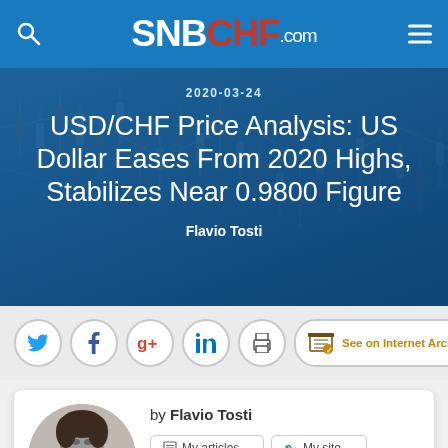SNBCHF.com
USD/CHF Price Analysis: US Dollar Eases From 2020 Highs, Stabilizes Near 0.9800 Figure
2020-03-24
Flavio Tosti
[Figure (screenshot): Social sharing icons: Twitter, Facebook, Google+, LinkedIn, Print, and an Internet Archive button]
by Flavio Tosti
[Figure (photo): Black and white headshot photo of Flavio Tosti]
My articles  My site  About me  My videos